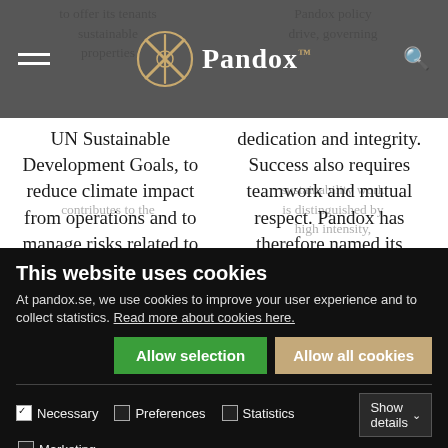Pandox website navigation bar with logo
to offer its tenants sustainable properties contributes to the UN Sustainable Development Goals, to reduce climate impact from operations and to manage risks related to climate change. In 2021 Pandox
Pandox policy drive, governing sustainability work, is distinguished by high intensity, dedication and integrity. Success also requires teamwork and mutual respect. Pandox has therefore named its sustainability strategy Fair Play.
This website uses cookies
At pandox.se, we use cookies to improve your user experience and to collect statistics. Read more about cookies here.
Allow selection | Allow all cookies
Necessary | Preferences | Statistics | Marketing | Show details